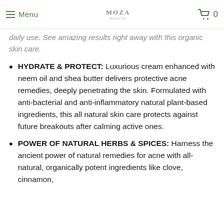Menu | MOZA | 0
daily use. See amazing results right away with this organic skin care.
HYDRATE & PROTECT: Luxurious cream enhanced with neem oil and shea butter delivers protective acne remedies, deeply penetrating the skin. Formulated with anti-bacterial and anti-inflammatory natural plant-based ingredients, this all natural skin care protects against future breakouts after calming active ones.
POWER OF NATURAL HERBS & SPICES: Harness the ancient power of natural remedies for acne with all-natural, organically potent ingredients like clove, cinnamon,